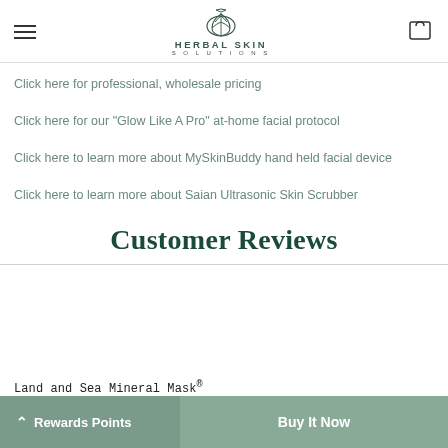HERBAL SKIN SOLUTIONS
Click here for professional, wholesale pricing
Click here for our "Glow Like A Pro" at-home facial protocol
Click here to learn more about MySkinBuddy hand held facial device
Click here to learn more about Saian Ultrasonic Skin Scrubber
Customer Reviews
Land and Sea Mineral Mask®
Rewards Points  |  Buy It Now